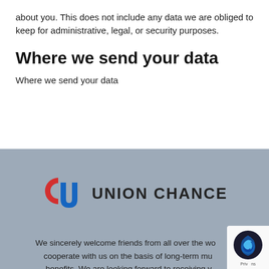about you. This does not include any data we are obliged to keep for administrative, legal, or security purposes.
Where we send your data
Where we send your data
[Figure (logo): Union Chance logo — stylized red C and blue U letterforms with the text UNION CHANCE in bold]
We sincerely welcome friends from all over the world to cooperate with us on the basis of long-term mutual benefits. We are looking forward to receiving your enquiries soon.